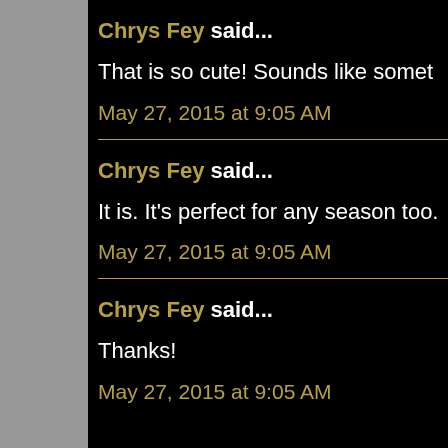Chrys Fey said...
That is so cute! Sounds like somet
May 27, 2015 at 9:05 AM
Chrys Fey said...
It is. It's perfect for any season too.
May 27, 2015 at 9:05 AM
Chrys Fey said...
Thanks!
May 27, 2015 at 9:05 AM